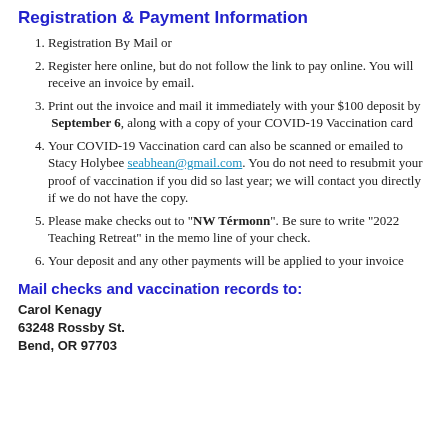Registration & Payment Information
Registration By Mail or
Register here online, but do not follow the link to pay online. You will receive an invoice by email.
Print out the invoice and mail it immediately with your $100 deposit by September 6, along with a copy of your COVID-19 Vaccination card
Your COVID-19 Vaccination card can also be scanned or emailed to Stacy Holybee seabhean@gmail.com. You do not need to resubmit your proof of vaccination if you did so last year; we will contact you directly if we do not have the copy.
Please make checks out to "NW Térmonn". Be sure to write "2022 Teaching Retreat" in the memo line of your check.
Your deposit and any other payments will be applied to your invoice
Mail checks and vaccination records to:
Carol Kenagy
63248 Rossby St.
Bend, OR 97703